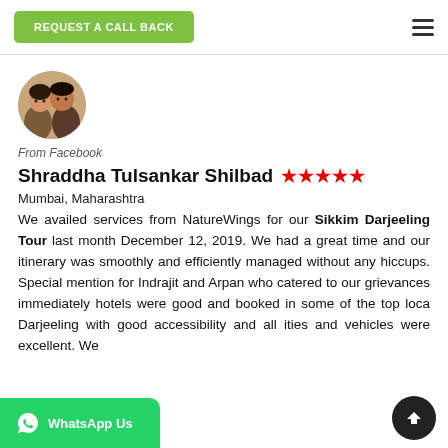REQUEST A CALL BACK
[Figure (photo): Circular profile photo of a couple (man and woman)]
From Facebook
Shraddha Tulsankar Shilbad ★★★★★
Mumbai, Maharashtra
We availed services from NatureWings for our Sikkim Darjeeling Tour last month December 12, 2019. We had a great time and our itinerary was smoothly and efficiently managed without any hiccups. Special mention for Indrajit and Arpan who catered to our grievances immediately hotels were good and booked in some of the top loca Darjeeling with good accessibility and all ities and vehicles were excellent. We